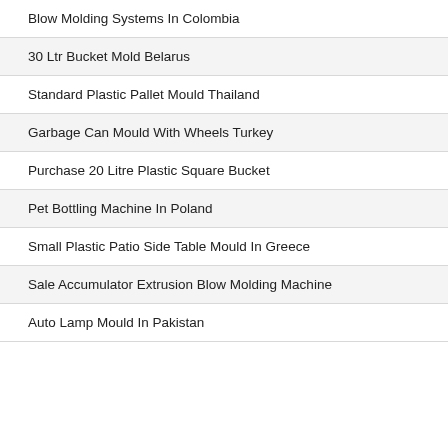Blow Molding Systems In Colombia
30 Ltr Bucket Mold Belarus
Standard Plastic Pallet Mould Thailand
Garbage Can Mould With Wheels Turkey
Purchase 20 Litre Plastic Square Bucket
Pet Bottling Machine In Poland
Small Plastic Patio Side Table Mould In Greece
Sale Accumulator Extrusion Blow Molding Machine
Auto Lamp Mould In Pakistan